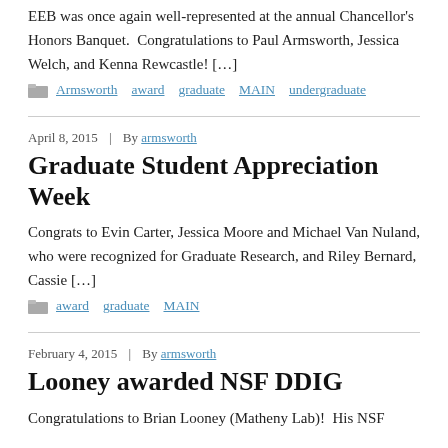EEB was once again well-represented at the annual Chancellor's Honors Banquet.  Congratulations to Paul Armsworth, Jessica Welch, and Kenna Rewcastle! […]
Tags: Armsworth  award  graduate  MAIN  undergraduate
April 8, 2015  |  By armsworth
Graduate Student Appreciation Week
Congrats to Evin Carter, Jessica Moore and Michael Van Nuland, who were recognized for Graduate Research, and Riley Bernard, Cassie […]
Tags: award  graduate  MAIN
February 4, 2015  |  By armsworth
Looney awarded NSF DDIG
Congratulations to Brian Looney (Matheny Lab)!  His NSF